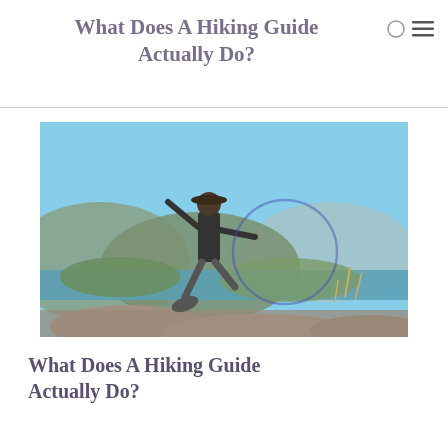What Does A Hiking Guide Actually Do?
[Figure (photo): A man wearing a wide-brim hat and dark t-shirt poses on rocky terrain on one knee with arms outstretched, with a lake, forested hills and mountains visible in the background under a clear blue sky.]
What Does A Hiking Guide Actually Do?